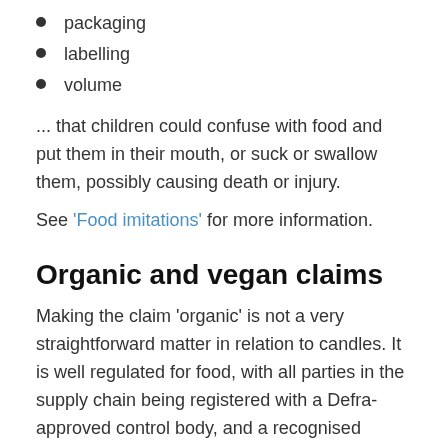packaging
labelling
volume
... that children could confuse with food and put them in their mouth, or suck or swallow them, possibly causing death or injury.
See 'Food imitations' for more information.
Organic and vegan claims
Making the claim 'organic' is not a very straightforward matter in relation to candles. It is well regulated for food, with all parties in the supply chain being registered with a Defra-approved control body, and a recognised system is in place for cosmetics, called COSMOS.